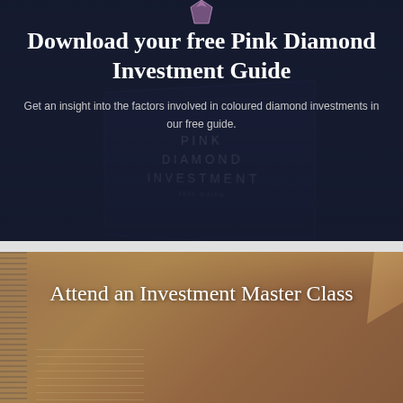[Figure (photo): Dark navy background with a book titled 'Pink Diamond Investment 2022 Guide' overlaid with text content about downloading a free investment guide]
Download your free Pink Diamond Investment Guide
Get an insight into the factors involved in coloured diamond investments in our free guide.
[Figure (photo): Warm golden-toned background with a person's raised fist holding something, with floral/decorative elements visible, overlaid with text about attending an Investment Master Class]
Attend an Investment Master Class